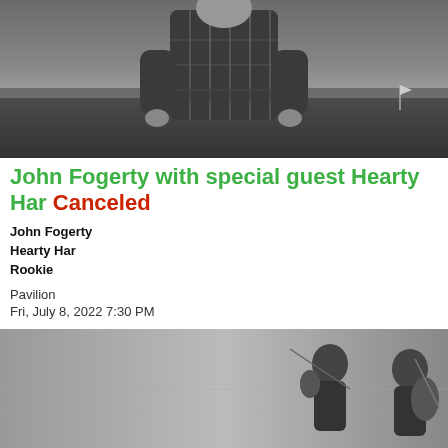[Figure (photo): Black and white photo of a person standing in a field wearing a plaid shirt, landscape background with overcast sky]
John Fogerty with special guest Hearty Har Canceled
John Fogerty
Hearty Har
Rookie
Pavilion
Fri, July 8, 2022 7:30 PM
[Figure (photo): Black and white photo of two musicians playing string instruments (violin/cello) on a stage or floor]